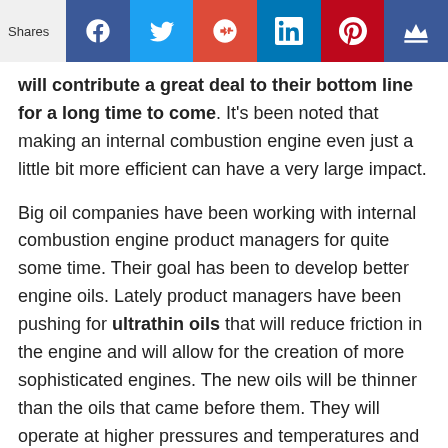Shares [social sharing buttons: Facebook, Twitter, Google+, LinkedIn, Pinterest, Crown]
will contribute a great deal to their bottom line for a long time to come. It's been noted that making an internal combustion engine even just a little bit more efficient can have a very large impact.
Big oil companies have been working with internal combustion engine product managers for quite some time. Their goal has been to develop better engine oils. Lately product managers have been pushing for ultrathin oils that will reduce friction in the engine and will allow for the creation of more sophisticated engines. The new oils will be thinner than the oils that came before them. They will operate at higher pressures and temperatures and will have less of a tendency to evaporate.
As the new oils are developed, they will start to be recommended for use in newer engines. When the oils